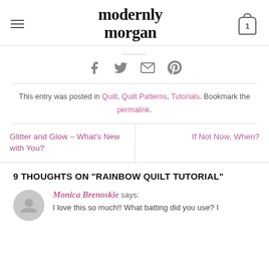modernly morgan
[Figure (other): Social share icons: Facebook, Twitter, Email, Pinterest]
This entry was posted in Quilt, Quilt Patterns, Tutorials. Bookmark the permalink.
Glitter and Glow – What's New with You?
If Not Now, When?
9 THOUGHTS ON "RAINBOW QUILT TUTORIAL"
Monica Brenoskie says: I love this so much!! What batting did you use? I